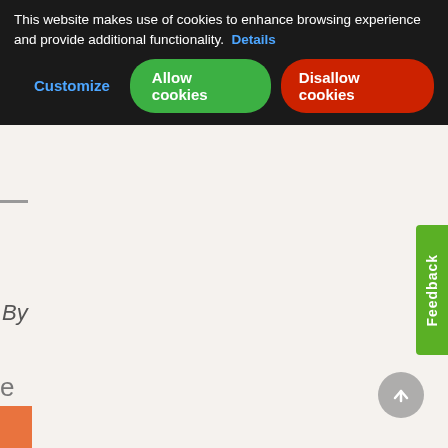This website makes use of cookies to enhance browsing experience and provide additional functionality.  Details
Customize  Allow cookies  Disallow cookies
Feedback